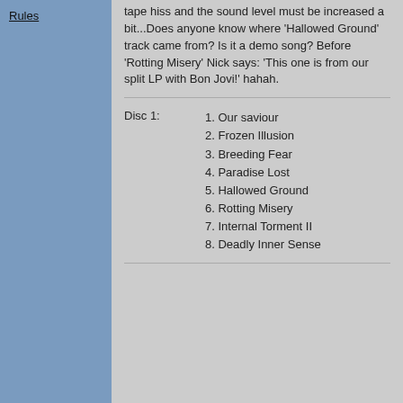Rules
tape hiss and the sound level must be increased a bit...Does anyone know where 'Hallowed Ground' track came from? Is it a demo song? Before 'Rotting Misery' Nick says: 'This one is from our split LP with Bon Jovi!' hahah.
Disc 1:
1. Our saviour
2. Frozen Illusion
3. Breeding Fear
4. Paradise Lost
5. Hallowed Ground
6. Rotting Misery
7. Internal Torment II
8. Deadly Inner Sense